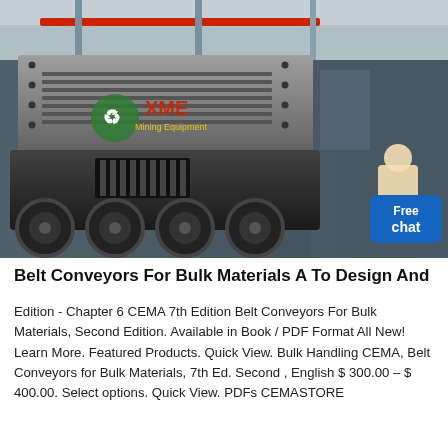[Figure (photo): Industrial mining equipment (large mobile screening/crushing machine on truck chassis) inside a warehouse/factory. XME Mining Equipment logo visible on the machine. A 'Free chat' button overlay in the bottom-right corner of the image.]
Belt Conveyors For Bulk Materials A To Design And
Edition - Chapter 6 CEMA 7th Edition Belt Conveyors For Bulk Materials, Second Edition. Available in Book / PDF Format All New! Learn More. Featured Products. Quick View. Bulk Handling CEMA, Belt Conveyors for Bulk Materials, 7th Ed. Second , English $ 300.00 – $ 400.00. Select options. Quick View. PDFs CEMASTORE